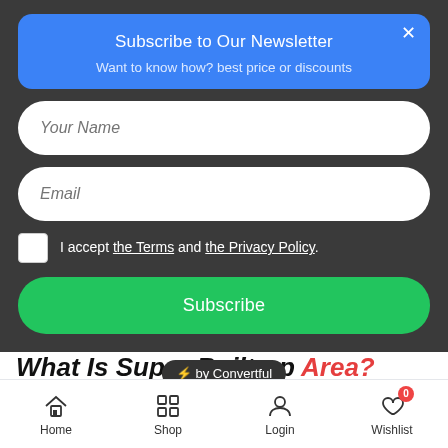Subscribe to Our Newsletter
Want to know how? best price or discounts
Your Name
Email
I accept the Terms and the Privacy Policy.
Subscribe
What Is Super Built-up Area?
⚡ by Convertful
Super Built-up Area is the sum of built-up area and common areas proportioned to a unit. The built-up area is the carpet area plus the thickness of the walls. The
Home  Shop  Login  Wishlist 0